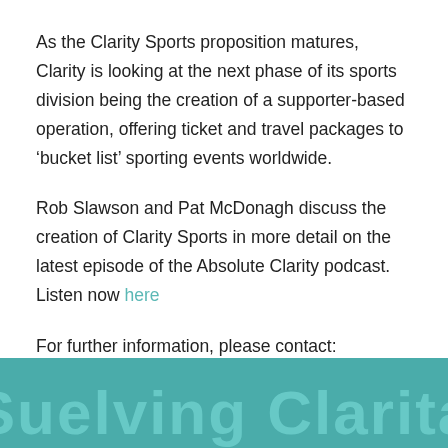As the Clarity Sports proposition matures, Clarity is looking at the next phase of its sports division being the creation of a supporter-based operation, offering ticket and travel packages to ‘bucket list’ sporting events worldwide.
Rob Slawson and Pat McDonagh discuss the creation of Clarity Sports in more detail on the latest episode of the Absolute Clarity podcast. Listen now here
For further information, please contact:
marketing@claritybt.com
[Figure (other): Teal/turquoise banner at the bottom of the page with large decorative text in a slightly lighter teal color partially visible]